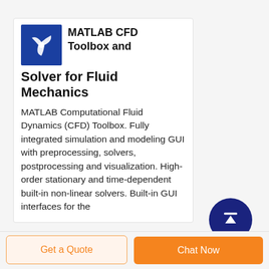[Figure (logo): Blue square logo with white propeller/fan icon representing MATLAB CFD Toolbox]
MATLAB CFD Toolbox and Solver for Fluid Mechanics
MATLAB Computational Fluid Dynamics (CFD) Toolbox. Fully integrated simulation and modeling GUI with preprocessing, solvers, postprocessing and visualization. High-order stationary and time-dependent built-in non-linear solvers. Built-in GUI interfaces for the
[Figure (illustration): Dark navy blue circular button with white upward arrow icon (scroll-to-top button)]
Get a Quote
Chat Now